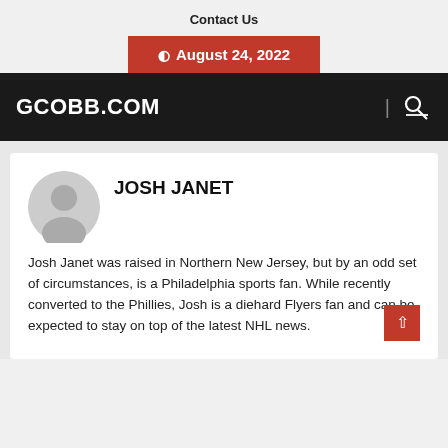Contact Us
August 24, 2022
GCOBB.COM
JOSH JANET
Josh Janet was raised in Northern New Jersey, but by an odd set of circumstances, is a Philadelphia sports fan. While recently converted to the Phillies, Josh is a diehard Flyers fan and can be expected to stay on top of the latest NHL news.